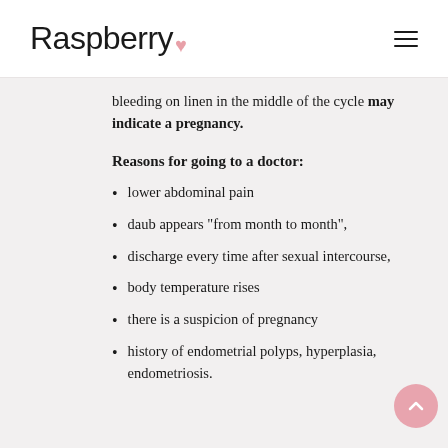Raspberry
bleeding on linen in the middle of the cycle may indicate a pregnancy.
Reasons for going to a doctor:
lower abdominal pain
daub appears "from month to month",
discharge every time after sexual intercourse,
body temperature rises
there is a suspicion of pregnancy
history of endometrial polyps, hyperplasia, endometriosis.